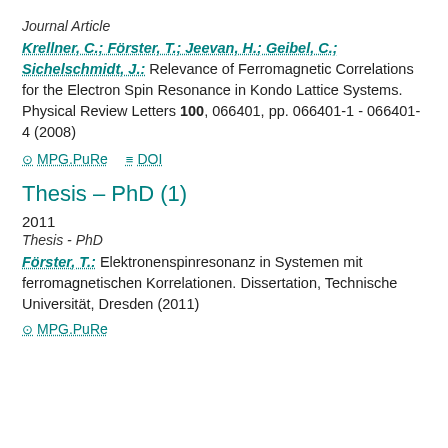Journal Article
Krellner, C.; Förster, T.; Jeevan, H.; Geibel, C.; Sichelschmidt, J.: Relevance of Ferromagnetic Correlations for the Electron Spin Resonance in Kondo Lattice Systems. Physical Review Letters 100, 066401, pp. 066401-1 - 066401-4 (2008)
MPG.PuRe   DOI
Thesis – PhD (1)
2011
Thesis - PhD
Förster, T.: Elektronenspinresonanz in Systemen mit ferromagnetischen Korrelationen. Dissertation, Technische Universität, Dresden (2011)
MPG.PuRe